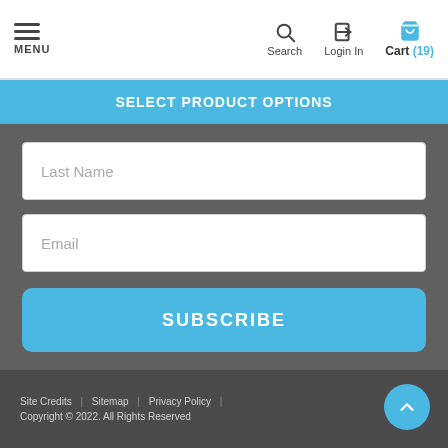MENU | Search | Login In | Cart (19)
SELECT PRODUCT OPTIONS
Last Name
Email
SUBSCRIBE
Site Credits | Sitemap | Privacy Policy | Copyright © 2022. All Rights Reserved